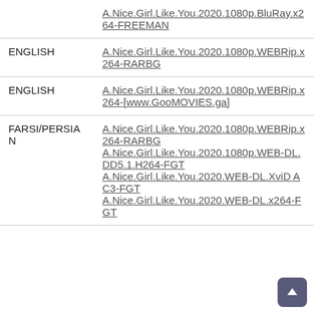| Language | File |
| --- | --- |
|  | A.Nice.Girl.Like.You.2020.1080p.BluRay.x264-FREEMAN |
| ENGLISH | A.Nice.Girl.Like.You.2020.1080p.WEBRip.x264-RARBG |
| ENGLISH | A.Nice.Girl.Like.You.2020.1080p.WEBRip.x264-[www.GooMOVIES.ga] |
| FARSI/PERSIAN | A.Nice.Girl.Like.You.2020.1080p.WEBRip.x264-RARBG
A.Nice.Girl.Like.You.2020.1080p.WEB-DL.DD5.1.H264-FGT
A.Nice.Girl.Like.You.2020.WEB-DL.XviD AC3-FGT
A.Nice.Girl.Like.You.2020.WEB-DL.x264-FGT |